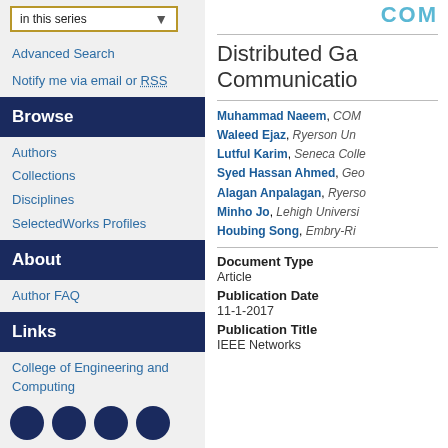in this series
Advanced Search
Notify me via email or RSS
Browse
Authors
Collections
Disciplines
SelectedWorks Profiles
About
Author FAQ
Links
College of Engineering and Computing
Distributed Ga... Communicatio...
Muhammad Naeem, COM...
Waleed Ejaz, Ryerson Un...
Lutful Karim, Seneca Colle...
Syed Hassan Ahmed, Geo...
Alagan Anpalagan, Ryerso...
Minho Jo, Lehigh Universi...
Houbing Song, Embry-Ri...
Document Type
Article
Publication Date
11-1-2017
Publication Title
IEEE Networks